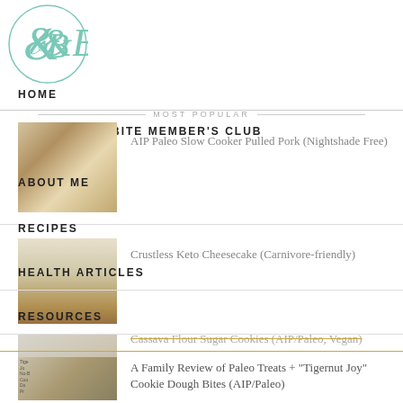[Figure (logo): Circular logo with teal/mint script letter B with an ampersand, thin teal border circle]
HOME
MOST POPULAR
BEYOND THE BITE MEMBER'S CLUB
[Figure (photo): Thumbnail of pulled pork dish]
AIP Paleo Slow Cooker Pulled Pork (Nightshade Free)
ABOUT ME
RECIPES
[Figure (photo): Thumbnail of keto cheesecake slice]
Crustless Keto Cheesecake (Carnivore-friendly)
HEALTH ARTICLES
RESOURCES
[Figure (photo): Thumbnail of frosted sugar cookies]
Cassava Flour Sugar Cookies (AIP/Paleo, Vegan)
[Figure (photo): Thumbnail of tigernut cookie dough bites]
A Family Review of Paleo Treats + "Tigernut Joy" Cookie Dough Bites (AIP/Paleo)